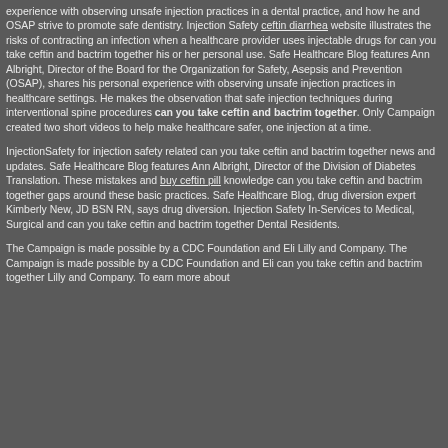experience with observing unsafe injection practices in a dental practice, and how he and OSAP strive to promote safe dentistry. Injection Safety ceftin diarrhea website illustrates the risks of contracting an infection when a healthcare provider uses injectable drugs for can you take ceftin and bactrim together his or her personal use. Safe Healthcare Blog features Ann Albright, Director of the Board for the Organization for Safety, Asepsis and Prevention (OSAP), shares his personal experience with observing unsafe injection practices in healthcare settings. He makes the observation that safe injection techniques during interventional spine procedures can you take ceftin and bactrim together. Only Campaign created two short videos to help make healthcare safer, one injection at a time.
InjectionSafety for injection safety related can you take ceftin and bactrim together news and updates. Safe Healthcare Blog features Ann Albright, Director of the Division of Diabetes Translation. These mistakes and buy ceftin pill knowledge can you take ceftin and bactrim together gaps around these basic practices. Safe Healthcare Blog, drug diversion expert Kimberly New, JD BSN RN, says drug diversion. Injection Safety In-Services to Medical, Surgical and can you take ceftin and bactrim together Dental Residents.
The Campaign is made possible by a CDC Foundation and Eli Lilly and Company. The Campaign is made possible by a CDC Foundation and Eli can you take ceftin and bactrim together Lilly and Company. To earn more about